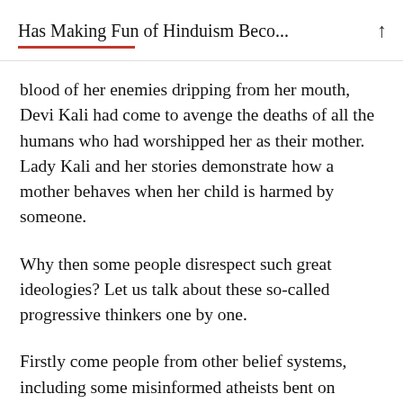Has Making Fun of Hinduism Beco...
blood of her enemies dripping from her mouth, Devi Kali had come to avenge the deaths of all the humans who had worshipped her as their mother. Lady Kali and her stories demonstrate how a mother behaves when her child is harmed by someone.
Why then some people disrespect such great ideologies? Let us talk about these so-called progressive thinkers one by one.
Firstly come people from other belief systems, including some misinformed atheists bent on proving their point of view right by shaming